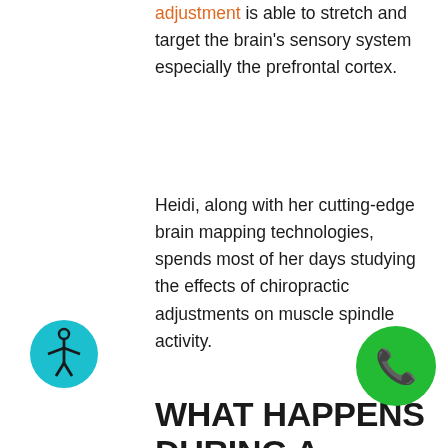adjustment is able to stretch and target the brain's sensory system especially the prefrontal cortex.
Heidi, along with her cutting-edge brain mapping technologies, spends most of her days studying the effects of chiropractic adjustments on muscle spindle activity.
WHAT HAPPENS DURING A CHIROPRACTIC ADJUSTMENT
[Figure (illustration): Teal circular accessibility icon showing a human figure with arms outstretched]
[Figure (illustration): Green circular phone/call icon]